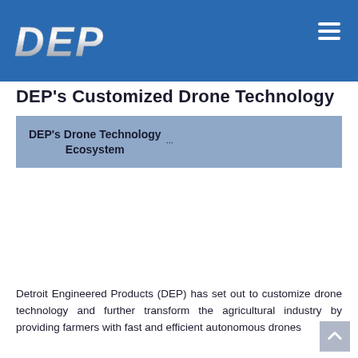DEP
DEP's Customized Drone Technology
DEP's Drone Technology Ecosystem
Detroit Engineered Products (DEP) has set out to customize drone technology and further transform the agricultural industry by providing farmers with fast and efficient autonomous drones...